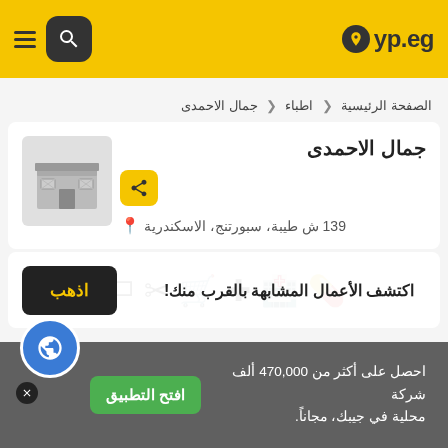yp.eg
الصفحة الرئيسية ❯ اطباء ❯ جمال الاحمدى
جمال الاحمدى
139 ش طيبة، سبورتنج، الاسكندرية
اكتشف الأعمال المشابهة بالقرب منك! اذهب
احصل على أكثر من 470,000 ألف شركة محلية في جيبك، مجاناً. افتح التطبيق